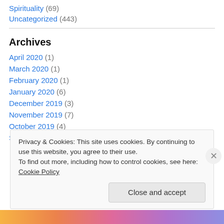Spirituality (69)
Uncategorized (443)
Archives
April 2020 (1)
March 2020 (1)
February 2020 (1)
January 2020 (6)
December 2019 (3)
November 2019 (7)
October 2019 (4)
September 2019 (3)
Privacy & Cookies: This site uses cookies. By continuing to use this website, you agree to their use.
To find out more, including how to control cookies, see here: Cookie Policy